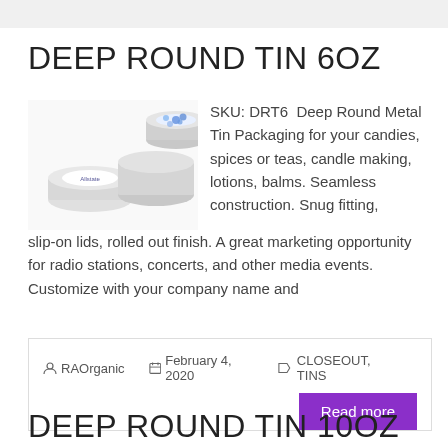DEEP ROUND TIN 6OZ
[Figure (photo): Product photo of Deep Round Tin 6oz - two white round metal tins with blue floral design on one lid, Allstate branding visible on smaller tin]
SKU: DRT6  Deep Round Metal Tin Packaging for your candies, spices or teas, candle making, lotions, balms. Seamless construction. Snug fitting, slip-on lids, rolled out finish. A great marketing opportunity for radio stations, concerts, and other media events. Customize with your company name and
RAOrganic   February 4, 2020   CLOSEOUT, TINS
Read more
DEEP ROUND TIN 10OZ